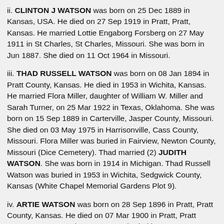ii. CLINTON J WATSON was born on 25 Dec 1889 in Kansas, USA. He died on 27 Sep 1919 in Pratt, Pratt, Kansas. He married Lottie Engaborg Forsberg on 27 May 1911 in St Charles, St Charles, Missouri. She was born in Jun 1887. She died on 11 Oct 1964 in Missouri.
iii. THAD RUSSELL WATSON was born on 08 Jan 1894 in Pratt County, Kansas. He died in 1953 in Wichita, Kansas. He married Flora Miller, daughter of William W. Miller and Sarah Turner, on 25 Mar 1922 in Texas, Oklahoma. She was born on 15 Sep 1889 in Carterville, Jasper County, Missouri. She died on 03 May 1975 in Harrisonville, Cass County, Missouri. Flora Miller was buried in Fairview, Newton County, Missouri (Dice Cemetery). Thad married (2) JUDITH WATSON. She was born in 1914 in Michigan. Thad Russell Watson was buried in 1953 in Wichita, Sedgwick County, Kansas (White Chapel Memorial Gardens Plot 9).
iv. ARTIE WATSON was born on 28 Sep 1896 in Pratt, Pratt County, Kansas. He died on 07 Mar 1900 in Pratt, Pratt County, Kansas. Artie Watson was buried in Pratt, Pratt County, Kansas (Greenlawn Cemetery).